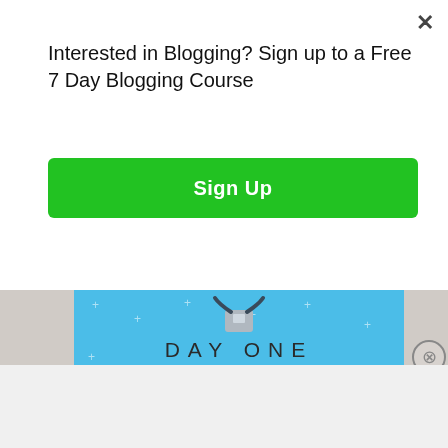Interested in Blogging? Sign up to a Free 7 Day Blogging Course
[Figure (screenshot): Green Sign Up button for a free 7-day blogging course]
[Figure (screenshot): Day One journaling app advertisement banner with blue background, person figure, 'DAY ONE' text, and 'The only journaling app you'll ever need.' tagline]
Advertisements
[Figure (screenshot): DuckDuckGo advertisement: 'Search, browse, and email with more privacy. All in One Free App' on orange-red background with DuckDuckGo logo on dark background]